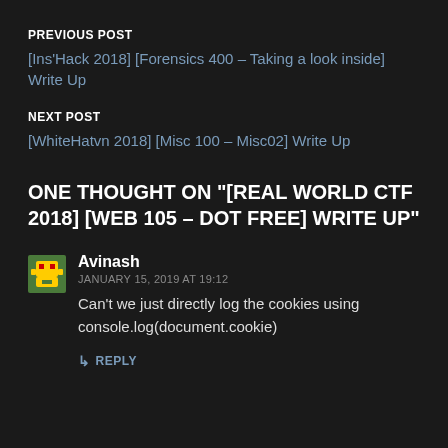PREVIOUS POST
[Ins'Hack 2018] [Forensics 400 – Taking a look inside] Write Up
NEXT POST
[WhiteHatvn 2018] [Misc 100 – Misc02] Write Up
ONE THOUGHT ON "[REAL WORLD CTF 2018] [WEB 105 – DOT FREE] WRITE UP"
Avinash
JANUARY 15, 2019 AT 19:12
Can't we just directly log the cookies using console.log(document.cookie)
↳ REPLY